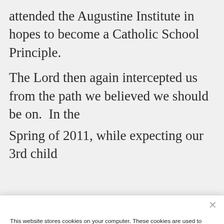attended the Augustine Institute in hopes to become a Catholic School Principle.
The Lord then again intercepted us from the path we believed we should be on.  In the Spring of 2011, while expecting our 3rd child
This website stores cookies on your computer. These cookies are used to improve your website experience and provide more personalized services to you, both on this website and through other media. To find out more about the cookies we use, see our Privacy Policy.
We won't track your information when you visit our site. But in order to comply with your preferences, we'll have to use just one tiny cookie so that you're not asked to make this choice again.
Accept
Decline